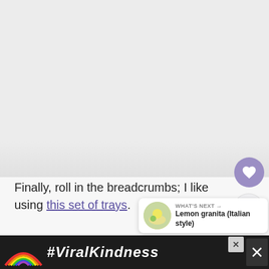[Figure (photo): Light gray/white background area at top of page, likely an image placeholder or faded photo]
Finally, roll in the breadcrumbs; I like using this set of trays.
[Figure (infographic): What's Next panel showing thumbnail of lemon granita dessert with label 'WHAT'S NEXT → Lemon granita (Italian style)']
[Figure (photo): Food photo at bottom showing breadcrumbs or similar textured food]
[Figure (infographic): Advertisement bar with rainbow illustration and text #ViralKindness on dark background]